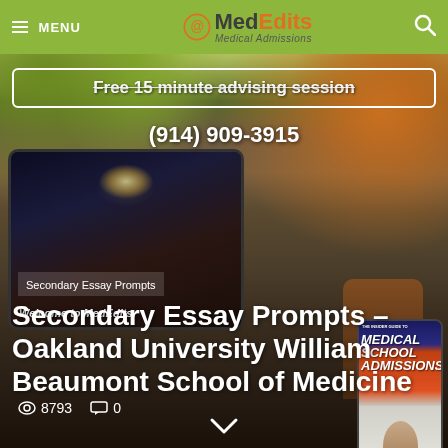MENU | MedEdits Medical Admissions
[Figure (screenshot): Hero banner image showing a tablet displaying MedEdits website with 'Welcome to MedEdits.' text and surgical scene, and a hand holding a phone showing OUWB medical admissions book cover. Background has plants and terracotta pots.]
Free 15 minute advising session
(914) 909-3915
Secondary Essay Prompts
Secondary Essay Prompts – Oakland University William Beaumont School of Medicine
8793
0